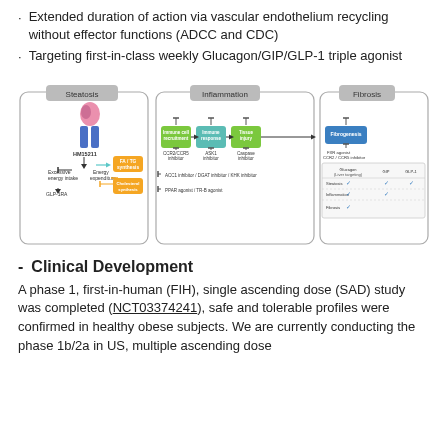Extended duration of action via vascular endothelium recycling without effector functions (ADCC and CDC)
Targeting first-in-class weekly Glucagon/GIP/GLP-1 triple agonist
[Figure (flowchart): Diagram showing three disease stages: Steatosis, Inflammation, and Fibrosis, with drug targets listed under each stage. Steatosis panel shows HM15211 targeting excessive energy intake and GLP-1RA, with arrows to FA/TG synthesis and Cholesterol synthesis boxes. Inflammation panel shows Immune cell recruitment, Immune response, and Tissue injury boxes with inhibitors: CCR2/CCR5 inhibitor, ASK1 inhibitor, Caspase inhibitor, ACC1 inhibitor/DGAT inhibitor/KHK inhibitor, PPAR agonist/TR-B agonist. Fibrosis panel shows Fibrogenesis box with FXR agonist, CCR2/CCR5 inhibitor, and a table showing Glucagon (Liver targeting), GIP, GLP-1 effects on Steatosis, Inflammation, and Fibrosis with checkmarks.]
Clinical Development
A phase 1, first-in-human (FIH), single ascending dose (SAD) study was completed (NCT03374241), safe and tolerable profiles were confirmed in healthy obese subjects. We are currently conducting the phase 1b/2a in US, multiple ascending dose